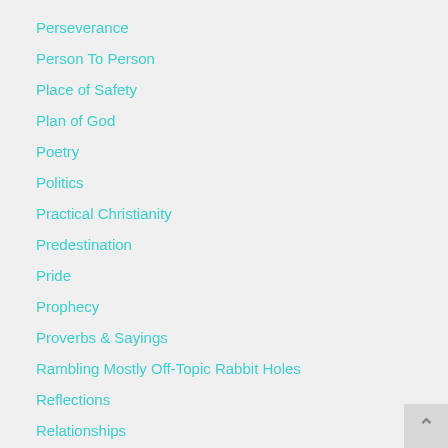Perseverance
Person To Person
Place of Safety
Plan of God
Poetry
Politics
Practical Christianity
Predestination
Pride
Prophecy
Proverbs & Sayings
Rambling Mostly Off-Topic Rabbit Holes
Reflections
Relationships